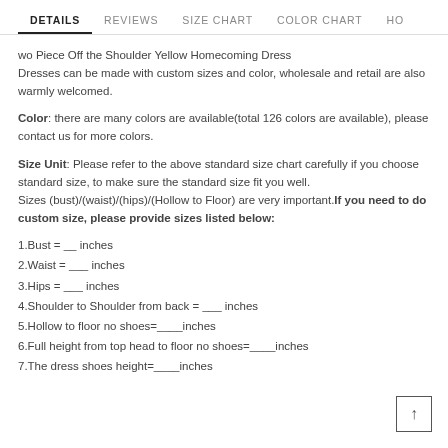DETAILS | REVIEWS | SIZE CHART | COLOR CHART | HO
wo Piece Off the Shoulder Yellow Homecoming Dress
Dresses can be made with custom sizes and color, wholesale and retail are also warmly welcomed.
Color: there are many colors are available(total 126 colors are available), please contact us for more colors.
Size Unit: Please refer to the above standard size chart carefully if you choose standard size, to make sure the standard size fit you well.
Sizes (bust)/(waist)/(hips)/(Hollow to Floor) are very important. If you need to do custom size, please provide sizes listed below:
1.Bust = __ inches
2.Waist = ___ inches
3.Hips = ___ inches
4.Shoulder to Shoulder from back = ___ inches
5.Hollow to floor no shoes=____inches
6.Full height from top head to floor no shoes=____inches
7.The dress shoes height=____inches